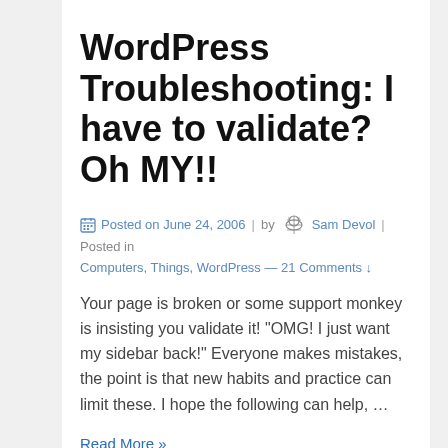WordPress Troubleshooting: I have to validate? Oh MY!!
Posted on June 24, 2006 | by Sam Devol | Posted in Computers, Things, WordPress — 21 Comments ↓
Your page is broken or some support monkey is insisting you validate it! "OMG! I just want my sidebar back!" Everyone makes mistakes, the point is that new habits and practice can limit these. I hope the following can help, …
Read More »